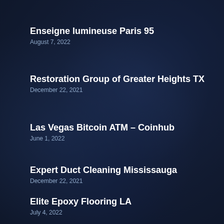Enseigne lumineuse Paris 95
August 7, 2022
Restoration Group of Greater Heights TX
December 22, 2021
Las Vegas Bitcoin ATM – Coinhub
June 1, 2022
Expert Duct Cleaning Mississauga
December 22, 2021
Elite Epoxy Flooring LA
July 4, 2022